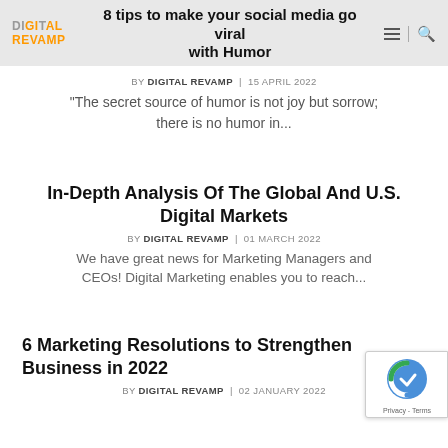DIGITAL REVAMP | 8 tips to make your social media go viral with Humor
8 tips to make your social media go viral with Humor
BY DIGITAL REVAMP  |  15 APRIL 2022
"The secret source of humor is not joy but sorrow; there is no humor in...
In-Depth Analysis Of The Global And U.S. Digital Markets
BY DIGITAL REVAMP  |  01 MARCH 2022
We have great news for Marketing Managers and CEOs! Digital Marketing enables you to reach...
6 Marketing Resolutions to Strengthen Business in 2022
BY DIGITAL REVAMP  |  02 JANUARY 2022